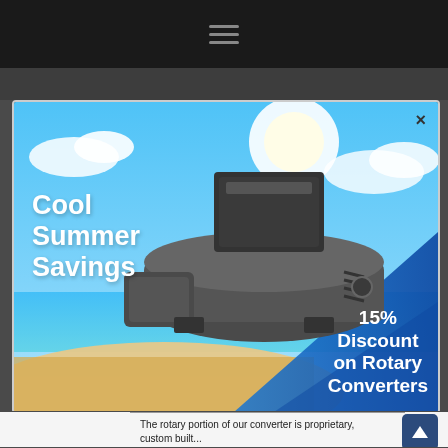[Figure (screenshot): Dark navigation bar with hamburger menu icon (three horizontal lines) centered on a black background]
[Figure (illustration): Promotional popup advertisement showing a summer beach scene background with a rotary converter machine in the center. Text reads 'Cool Summer Savings' on the left and '15% Discount on Rotary Converters' on the right with a blue diagonal accent. A close X button appears in the top-right corner.]
The rotary portion of our converter is proprietary, custom built...